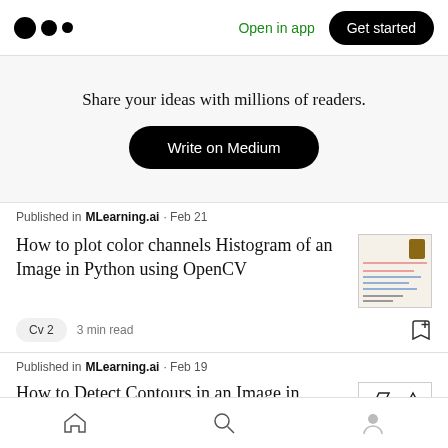Open in app  Get started
Share your ideas with millions of readers.
Write on Medium
Published in MLearning.ai · Feb 21
How to plot color channels Histogram of an Image in Python using OpenCV
Cv 2   3 min read
Published in MLearning.ai · Feb 19
How to Detect Contours in an Image in
Home  Search  Profile